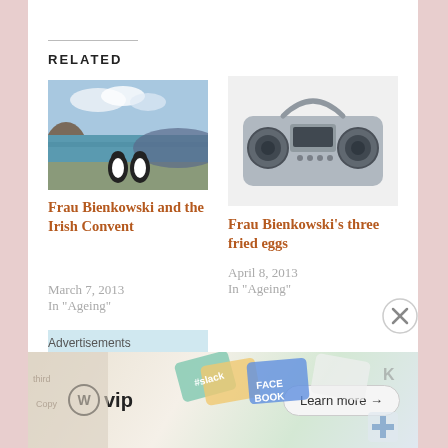RELATED
[Figure (illustration): Watercolor painting of two penguins/figures on a rocky Irish coastal landscape with sea and clouds]
Frau Bienkowski and the Irish Convent
March 7, 2013
In "Ageing"
[Figure (photo): Silver portable boombox/CD player radio]
Frau Bienkowski’s three fried eggs
April 8, 2013
In "Ageing"
[Figure (photo): Chocolate chip cheesecake slice on a purple/pink plate]
Advertisements
[Figure (other): WordPress VIP advertisement banner with Learn more button and colorful card/badge illustrations]